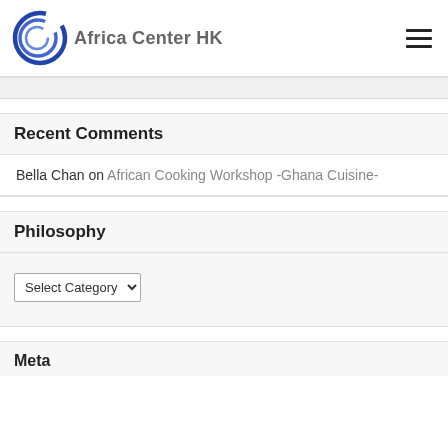[Figure (logo): Africa Center HK logo with circular C shape in blue and text 'Africa Center HK' in gray]
Recent Comments
Bella Chan on African Cooking Workshop -Ghana Cuisine-
Philosophy
Select Category
Meta